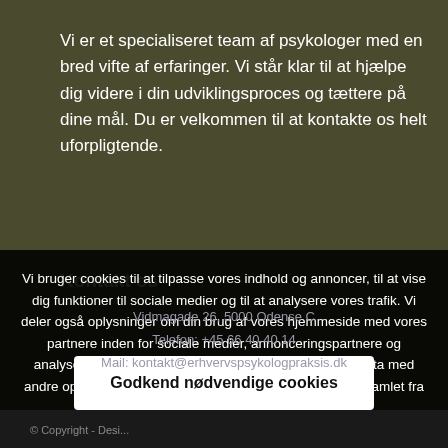Vi er et specialiseret team af psykologer med en bred vifte af erfaringer. Vi står klar til at hjælpe dig videre i din udviklingsproces og tættere på dine mål. Du er velkommen til at kontakte os helt uforpligtende.
Kontakt os
Vidmagade 26, 5000 Odense C
Telefon: +45 66 40 40 14
Mail: kontakt@erhvervspsykologpraksis.dk
Vi bruger cookies til at tilpasse vores indhold og annoncer, til at vise dig funktioner til sociale medier og til at analysere vores trafik. Vi deler også oplysninger om din brug af vores hjemmeside med vores partnere inden for sociale medier, annonceringspartnere og analysepartnere. Vores partnere kan kombinere disse data med andre oplysninger, du har givet dem, eller som de har indsamlet fra din brug af deres tjenester.
Godkend nødvendige cookies
© Copyright - Desi...